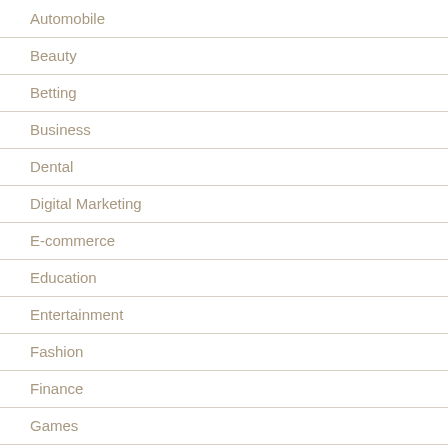Automobile
Beauty
Betting
Business
Dental
Digital Marketing
E-commerce
Education
Entertainment
Fashion
Finance
Games
General
Health